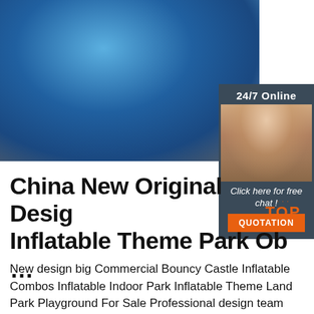[Figure (photo): Large blue inflatable theme park obstacle course or water slide structure photographed indoors on a gray floor, with circular gray base.]
[Figure (photo): 24/7 Online customer service panel showing a woman with headset smiling, with 'Click here for free chat!' text and orange QUOTATION button.]
China New Original Design Inflatable Theme Park Ob...
...
New design big Commercial Bouncy Castle Inflatable Combos Inflatable Indoor Park Inflatable Theme Land Park Playground For Sale Professional design team and about 150 professional workers & 5 workshop to offer different commercial inflatable, residential inflatable, water games